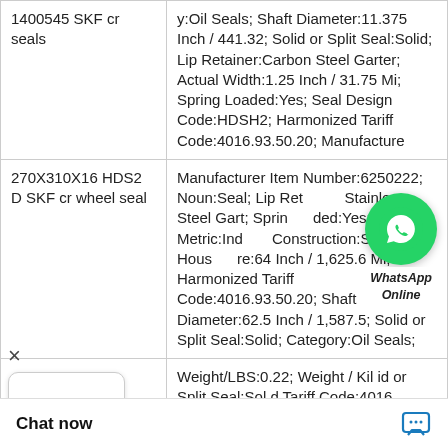| Product | Description |
| --- | --- |
| 1400545 SKF cr seals | y:Oil Seals; Shaft Diameter:11.375 Inch / 441.32; Solid or Split Seal:Solid; Lip Retainer:Carbon Steel Garter; Actual Width:1.25 Inch / 31.75 Mi; Spring Loaded:Yes; Seal Design Code:HDSH2; Harmonized Tariff Code:4016.93.50.20; Manufacture |
| 270X310X16 HDS2 D SKF cr wheel seal | Manufacturer Item Number:6250222; Noun:Seal; Lip Retainer:Stainless Steel Gart; Spring Loaded:Yes; Inch - Metric:Inch; Construction:Steel; Housing Bore:64 Inch / 1,625.6 Mi; Harmonized Tariff Code:4016.93.50.20; Shaft Diameter:62.5 Inch / 1,587.5; Solid or Split Seal:Solid; Category:Oil Seals; |
|  | Weight/LBS:0.22; Weight / Kil... id or Split Seal:Sol... d Tariff Code:4016. |
[Figure (other): WhatsApp Online chat button overlay with green circle icon and 'WhatsApp Online' label]
[Figure (other): Close (X) button and three-dots menu overlay at bottom left]
Chat now